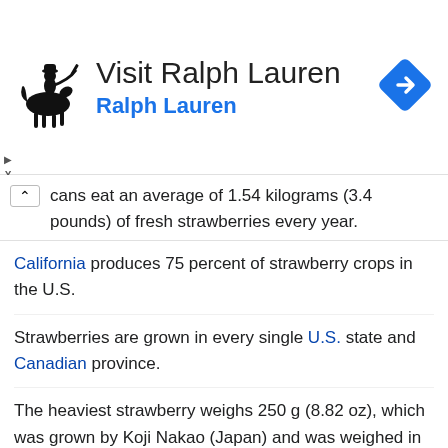[Figure (logo): Ralph Lauren polo player logo]
Visit Ralph Lauren
Ralph Lauren
[Figure (other): Blue diamond navigation/directions arrow icon]
cans eat an average of 1.54 kilograms (3.4 pounds) of fresh strawberries every year.
California produces 75 percent of strawberry crops in the U.S.
Strawberries are grown in every single U.S. state and Canadian province.
The heaviest strawberry weighs 250 g (8.82 oz), which was grown by Koji Nakao (Japan) and was weighed in Fukuoka, Fukuoka, Japan, on 28 January 2015.
There is a museum in Belgium dedicated to strawberries.